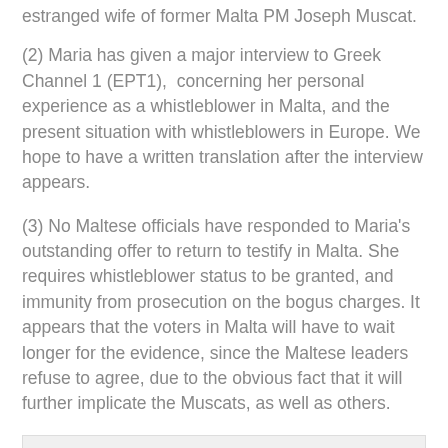estranged wife of former Malta PM Joseph Muscat.
(2) Maria has given a major interview to Greek Channel 1 (EPT1), concerning her personal experience as a whistleblower in Malta, and the present situation with whistleblowers in Europe. We hope to have a written translation after the interview appears.
(3) No Maltese officials have responded to Maria's outstanding offer to return to testify in Malta. She requires whistleblower status to be granted, and immunity from prosecution on the bogus charges. It appears that the voters in Malta will have to wait longer for the evidence, since the Maltese leaders refuse to agree, due to the obvious fact that it will further implicate the Muscats, as well as others.
Kenneth Rijock at Thursday, May 13, 2021
Share
No comments: